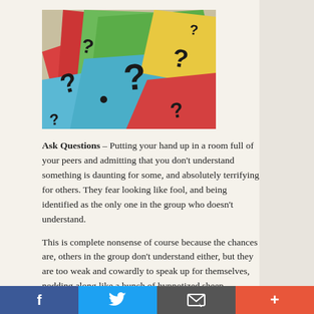[Figure (photo): Colorful crumpled paper sheets in red, green, blue, yellow with large question marks printed on them]
Ask Questions - Putting your hand up in a room full of your peers and admitting that you don't understand something is daunting for some, and absolutely terrifying for others. They fear looking like fool, and being identified as the only one in the group who doesn't understand.
This is complete nonsense of course because the chances are, others in the group don't understand either, but they are too weak and cowardly to speak up for themselves, nodding along like a bunch of hypnotized sheep.
If you are a little shy of asking questions in